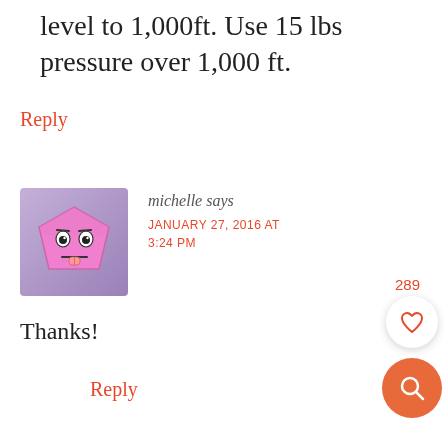level to 1,000ft. Use 15 lbs pressure over 1,000 ft.
Reply
[Figure (illustration): Avatar image: a cartoon pink pentagon-shaped face with eyes and tongue sticking out, on a purple/lavender gradient background]
michelle says
JANUARY 27, 2016 AT 3:24 PM
Thanks!
Reply